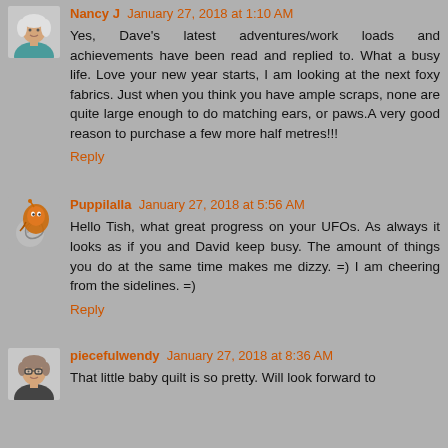Nancy J January 27, 2018 at 1:10 AM
Yes, Dave's latest adventures/work loads and achievements have been read and replied to. What a busy life. Love your new year starts, I am looking at the next foxy fabrics. Just when you think you have ample scraps, none are quite large enough to do matching ears, or paws.A very good reason to purchase a few more half metres!!!
Reply
Puppilalla January 27, 2018 at 5:56 AM
Hello Tish, what great progress on your UFOs. As always it looks as if you and David keep busy. The amount of things you do at the same time makes me dizzy. =) I am cheering from the sidelines. =)
Reply
piecefulwendy January 27, 2018 at 8:36 AM
That little baby quilt is so pretty. Will look forward to